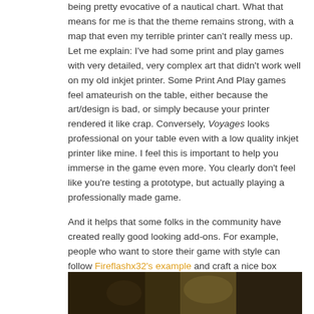being pretty evocative of a nautical chart. What that means for me is that the theme remains strong, with a map that even my terrible printer can't really mess up. Let me explain: I've had some print and play games with very detailed, very complex art that didn't work well on my old inkjet printer. Some Print And Play games feel amateurish on the table, either because the art/design is bad, or simply because your printer rendered it like crap. Conversely, Voyages looks professional on your table even with a low quality inkjet printer like mine. I feel this is important to help you immerse in the game even more. You clearly don't feel like you're testing a prototype, but actually playing a professionally made game.

And it helps that some folks in the community have created really good looking add-ons. For example, people who want to store their game with style can follow Fireflashx32's example and craft a nice box (picture below from Fireflashx32 on BGG).
[Figure (photo): Partial photo strip at bottom of page showing a dark/warm-toned image, likely the box/game components referenced in the text, from Fireflashx32 on BGG.]